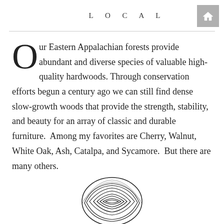LOCAL
Our Eastern Appalachian forests provide abundant and diverse species of valuable high-quality hardwoods. Through conservation efforts begun a century ago we can still find dense slow-growth woods that provide the strength, stability, and beauty for an array of classic and durable furniture.  Among my favorites are Cherry, Walnut, White Oak, Ash, Catalpa, and Sycamore.  But there are many others.
[Figure (illustration): Wood grain pattern illustration showing a stylized cross-section of a log with concentric wavy lines forming a wood grain pattern, black and white.]